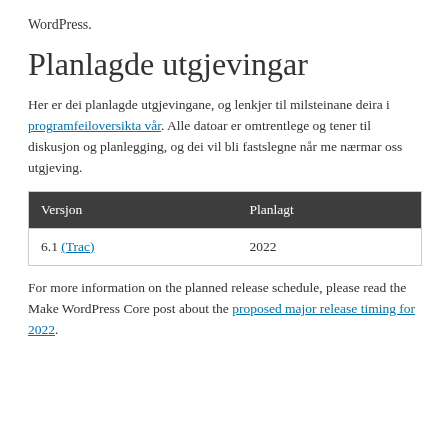WordPress.
Planlagde utgjevingar
Her er dei planlagde utgjevingane, og lenkjer til milsteinane deira i programfeiloversikta vår. Alle datoar er omtrentlege og tener til diskusjon og planlegging, og dei vil bli fastslegne når me nærmar oss utgjeving.
| Versjon | Planlagt |
| --- | --- |
| 6.1 (Trac) | 2022 |
For more information on the planned release schedule, please read the Make WordPress Core post about the proposed major release timing for 2022.